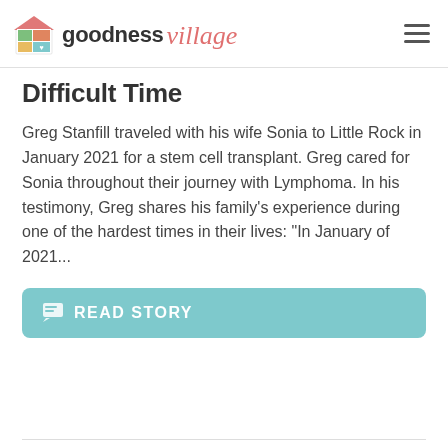goodness village
Difficult Time
Greg Stanfill traveled with his wife Sonia to Little Rock in January 2021 for a stem cell transplant. Greg cared for Sonia throughout their journey with Lymphoma. In his testimony, Greg shares his family's experience during one of the hardest times in their lives: “In January of 2021...
READ STORY